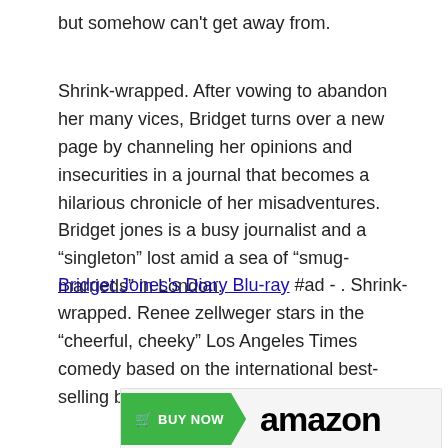but somehow can't get away from.
Shrink-wrapped. After vowing to abandon her many vices, Bridget turns over a new page by channeling her opinions and insecurities in a journal that becomes a hilarious chronicle of her misadventures. Bridget jones is a busy journalist and a “singleton” lost amid a sea of “smug-marrieds” in London.
Bridget Jones's Diary Blu-ray #ad - . Shrink-wrapped. Renee zellweger stars in the “cheerful, cheeky” Los Angeles Times comedy based on the international best-selling book.
[Figure (other): Amazon Buy Now ad banner with green Buy Now button and Amazon logo, with #ad tag]